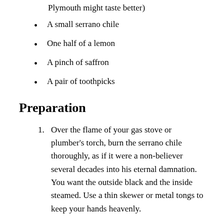Plymouth might taste better)
A small serrano chile
One half of a lemon
A pinch of saffron
A pair of toothpicks
Preparation
Over the flame of your gas stove or plumber's torch, burn the serrano chile thoroughly, as if it were a non-believer several decades into his eternal damnation. You want the outside black and the inside steamed. Use a thin skewer or metal tongs to keep your hands heavenly.
Let the chile cool, then cut it in half lengthwise. Scrape out the seeds and pale rib-flesh, imagining the scourging for inspiration. Take care not to let